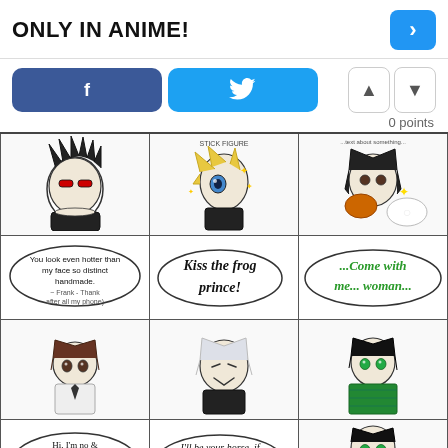ONLY IN ANIME!
[Figure (infographic): Social share buttons: Facebook (f), Twitter (bird icon), and up/down vote buttons with 0 points score]
[Figure (illustration): 3x4 grid comic panels from anime-style webcomic showing various anime characters with speech bubbles. Panels include: spiky dark-haired character, blonde character, dark-haired character eating; speech bubble 'You look even hotter than your face so distinct handmade'; 'Kiss the frog prince!'; '...Come with me... woman...'; chibi brown-haired character, white-haired character smiling, dark-haired character; 'Hi, I'm no & will you be my secret no?'; 'I'll be your horse, if you'll be my queen.']